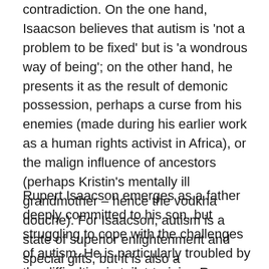contradiction. On the one hand, Isaacson believes that autism is 'not a problem to be fixed' but is 'a wondrous way of being'; on the other hand, he presents it as the result of demonic possession, perhaps a curse from his enemies (made during his earlier work as a human rights activist in Africa), or the malign influence of ancestors (perhaps Kristin's mentally ill grandmother – hence the vodkha douche). For Isaacson, autism is a state of superior enlightenment and special gifts, but it is also a manifestation of 'black energy' – evil spirits that require exorcism.
Rupert Isaacson emerges as a father deeply committed to his son, but struggling to cope with the challenges of autism. He is particularly troubled by the difficulties in toilet-training Rowan, by his recurrent tantrums and by his social disengagement. He is unsparing in his account of